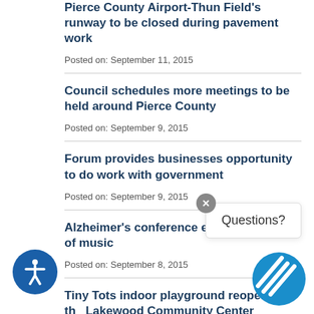Pierce County Airport-Thun Field's runway to be closed during pavement work
Posted on: September 11, 2015
Council schedules more meetings to be held around Pierce County
Posted on: September 9, 2015
Forum provides businesses opportunity to do work with government
Posted on: September 9, 2015
Alzheimer's conference explores power of music
Posted on: September 8, 2015
Tiny Tots indoor playground reopens at the Lakewood Community Center
Posted on: September 8, 2015
Parks and Recreation Touch A Truck event
Posted on: September 8, 2015